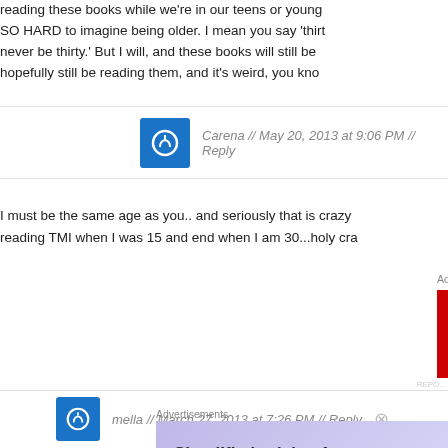reading these books while we're in our teens or young SO HARD to imagine being older. I mean you say 'thirt never be thirty.' But I will, and these books will still be hopefully still be reading them, and it's weird, you kno
Carena // May 20, 2013 at 9:06 PM // Reply
I must be the same age as you.. and seriously that is crazy reading TMI when I was 15 and end when I am 30...holy cra
[Figure (infographic): Red advertisement banner: 'An app by listeners, for listeners.' with Pocket logo and phone image]
mella // March 27, 2013 at 7:26 PM // Reply
[Figure (infographic): WordPress.com advertisement: 'Simplified pricing for everything you need.' with WordPress logo]